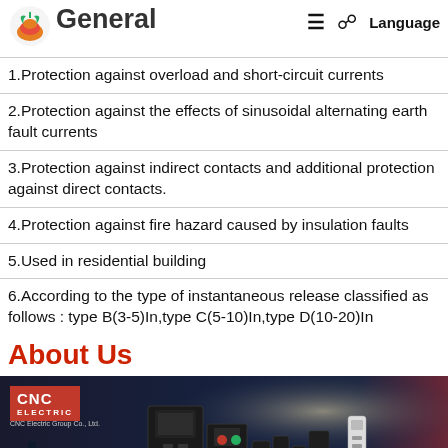General
1.Protection against overload and short-circuit currents
2.Protection against the effects of sinusoidal alternating earth fault currents
3.Protection against indirect contacts and additional protection against direct contacts.
4.Protection against fire hazard caused by insulation faults
5.Used in residential building
6.According to the type of instantaneous release classified as follows : type B(3-5)In,type C(5-10)In,type D(10-20)In
About Us
[Figure (photo): CNC Electric banner showing various electrical circuit breakers and switchgear products against a dark dramatic background. CNC Electric logo and branding visible in top left. 'CNC Electric Group Co., Ltd.' subtitle visible. Yellow circular 'Top' button and blue mail button overlaid in bottom right.]